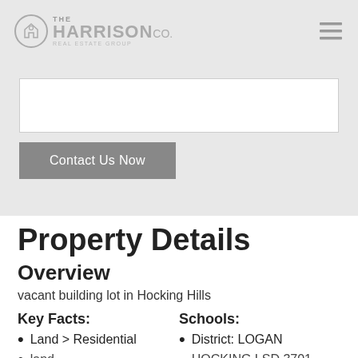THE HARRISON CO. REAL ESTATE GROUP
[Figure (screenshot): Contact form textarea and Contact Us Now button on gray background]
Property Details
Overview
vacant building lot in Hocking Hills
Key Facts:
Land > Residential
Schools:
District: LOGAN
HOCKING LSD 3701